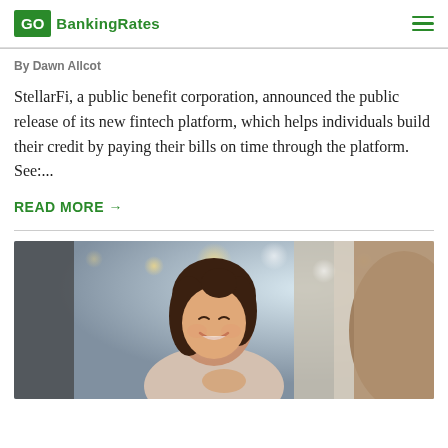GO BankingRates
By Dawn Allcot
StellarFi, a public benefit corporation, announced the public release of its new fintech platform, which helps individuals build their credit by paying their bills on time through the platform. See:...
READ MORE →
[Figure (photo): A smiling young woman with dark hair looking down, in a warm indoor setting with bokeh lights in the background, handing something to another person]